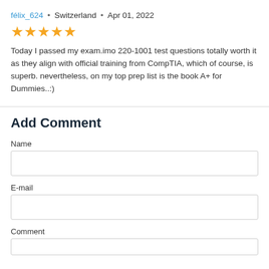félix_624 • Switzerland • Apr 01, 2022
[Figure (other): Five gold star rating icons]
Today I passed my exam.imo 220-1001 test questions totally worth it as they align with official training from CompTIA, which of course, is superb. nevertheless, on my top prep list is the book A+ for Dummies..:)
Add Comment
Name
E-mail
Comment